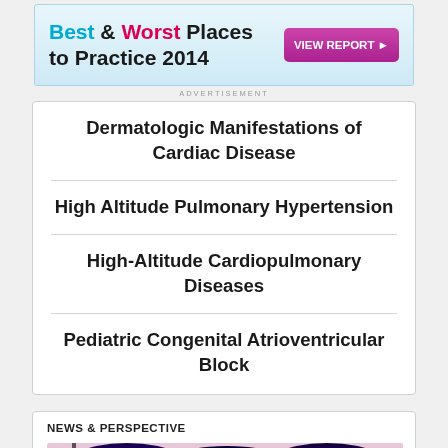[Figure (screenshot): Advertisement banner: Best & Worst Places to Practice 2014 with VIEW REPORT button]
ADVERTISEMENT
Dermatologic Manifestations of Cardiac Disease
High Altitude Pulmonary Hypertension
High-Altitude Cardiopulmonary Diseases
Pediatric Congenital Atrioventricular Block
NEWS & PERSPECTIVE
[Figure (photo): Medical scan image showing colorful cardiac/echocardiographic imaging with blue, white, yellow, and pink color mapping]